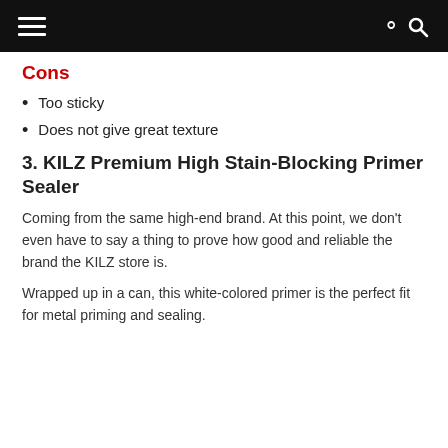[navigation bar with hamburger menu and search icon]
Cons
Too sticky
Does not give great texture
3. KILZ Premium High Stain-Blocking Primer Sealer
Coming from the same high-end brand. At this point, we don't even have to say a thing to prove how good and reliable the brand the KILZ store is.
Wrapped up in a can, this white-colored primer is the perfect fit for metal priming and sealing.